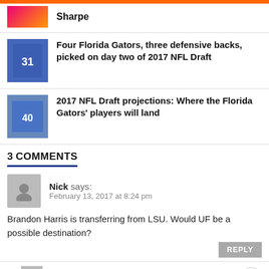Sharpe
[Figure (photo): Florida Gators football player in orange jersey #31 with arms raised]
Four Florida Gators, three defensive backs, picked on day two of 2017 NFL Draft
[Figure (photo): Florida Gators football player in blue jersey #40]
2017 NFL Draft projections: Where the Florida Gators' players will land
3 COMMENTS
Nick says:
February 13, 2017 at 8:24 pm
Brandon Harris is transferring from LSU. Would UF be a possible destination?
Adam Silverstein says: